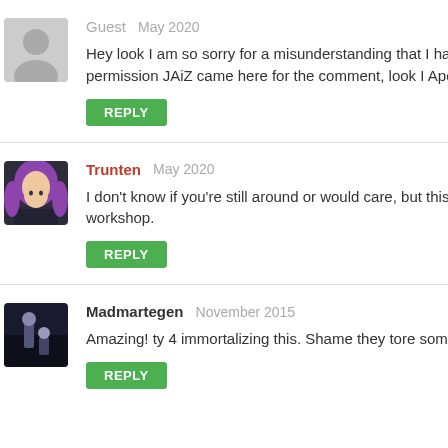Guest   May 2020
Hey look I am so sorry for a misunderstanding that I haven't d... permission JAiZ came here for the comment, look I Apologize...
REPLY
Trunten   May 2020
I don't know if you're still around or would care, but this map w... workshop.
REPLY
Madmartegen   November 2015
Amazing! ty 4 immortalizing this. Shame they tore some of th...
REPLY